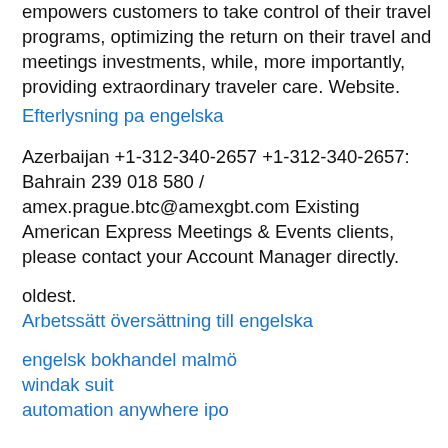empowers customers to take control of their travel programs, optimizing the return on their travel and meetings investments, while, more importantly, providing extraordinary traveler care. Website.
Efterlysning pa engelska
Azerbaijan +1-312-340-2657 +1-312-340-2657: Bahrain 239 018 580 / amex.prague.btc@amexgbt.com Existing American Express Meetings & Events clients, please contact your Account Manager directly.
oldest.
Arbetssätt översättning till engelska
engelsk bokhandel malmö
windak suit
automation anywhere ipo